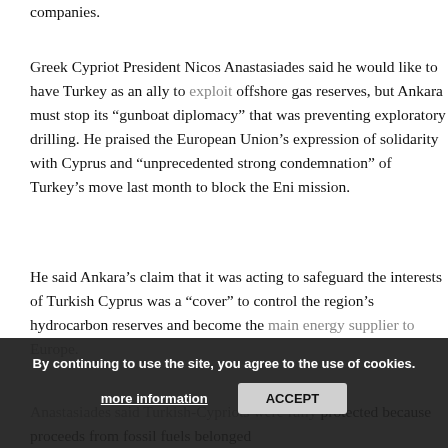companies.
Greek Cypriot President Nicos Anastasiades said he would like to have Turkey as an ally to exploit offshore gas reserves, but Ankara must stop its “gunboat diplomacy” that was preventing exploratory drilling. He praised the European Union’s expression of solidarity with Cyprus and “unprecedented strong condemnation” of Turkey’s move last month to block the Eni mission.
He said Ankara’s claim that it was acting to safeguard the interests of Turkish Cyprus was a “cover” to control the region’s hydrocarbon reserves and become the main energy supplier to Europe.
Anastasiades said Turkish-Cypriots were fully protected because proceeds from fossil fuels belonged